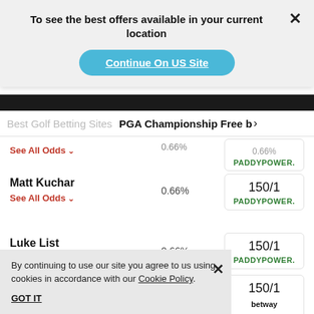To see the best offers available in your current location
Continue On US Site
Best Golf Betting Sites  PGA Championship Free b >
See All Odds ∨
PADDYPOWER.
Matt Kuchar
0.66%
See All Odds ∨
150/1
PADDYPOWER.
Luke List
0.66%
150/1
PADDYPOWER.
150/1
betway sports
By continuing to use our site you agree to us using cookies in accordance with our Cookie Policy.
GOT IT